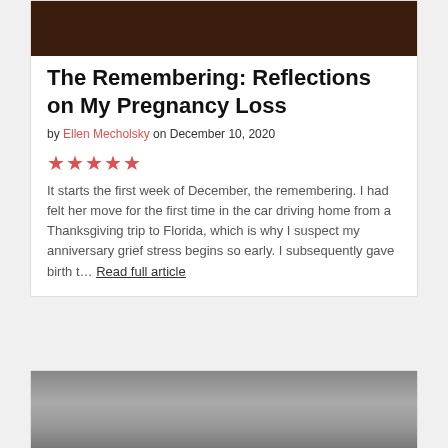[Figure (photo): Dark brown background image at top of first article card]
The Remembering: Reflections on My Pregnancy Loss
by Ellen Mecholsky on December 10, 2020
★★★★★
It starts the first week of December, the remembering. I had felt her move for the first time in the car driving home from a Thanksgiving trip to Florida, which is why I suspect my anniversary grief stress begins so early. I subsequently gave birth t… Read full article
[Figure (photo): Gray gradient background image at top of second article card]